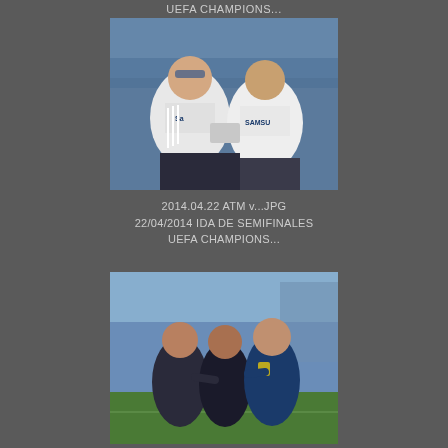UEFA CHAMPIONS...
[Figure (photo): Two Chelsea FC fans in white Samsung jerseys sitting in stadium seats, one looking at the other's phone or ticket]
2014.04.22 ATM v...JPG
22/04/2014 IDA DE SEMIFINALES
UEFA CHAMPIONS...
[Figure (photo): Three men in dark athletic wear standing on a football pitch, appearing to be in conversation before a match]